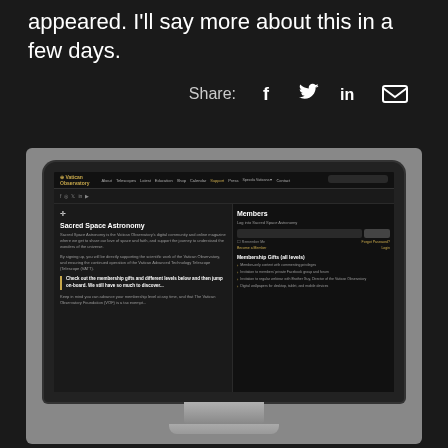appeared. I'll say more about this in a few days.
Share:
[Figure (screenshot): Screenshot of the Sacred Space Astronomy website displayed on an iMac-style monitor. The website shows a navigation bar, social media icons, and the main content area with the title 'Sacred Space Astronomy', body text about the Vatican Observatory's digital community, a highlighted blockquote about membership gifts, and a Members login panel on the right side with fields for email and password, and membership benefits listed below.]